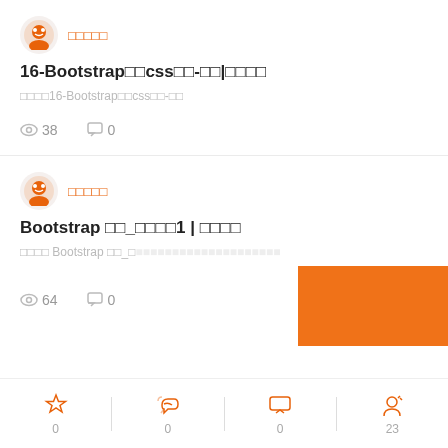[Figure (illustration): Orange robot avatar icon]
□□□□□
16-Bootstrap□□css□□-□□|□□□□
□□□□16-Bootstrap□□css□□-□□
◎ 38   □ 0
[Figure (illustration): Orange robot avatar icon]
□□□□□
Bootstrap □□_□□□□1 | □□□□
□□□□ Bootstrap □□_□...
◎ 64   □ 0
[Figure (infographic): Orange banner overlay: 打开APP查看全部]
0   0   0   23